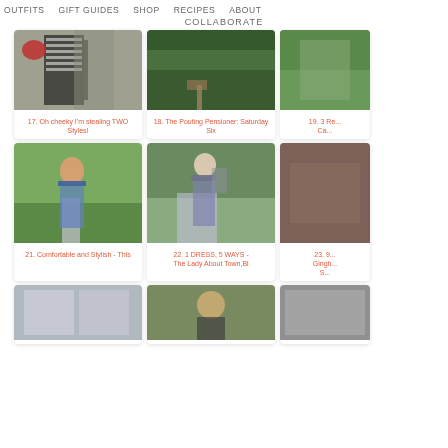OUTFITS   GIFT GUIDES   SHOP   RECIPES   ABOUT
COLLABORATE
[Figure (photo): Outfit photo - striped top with red bag]
17. Oh cheeky I'm stealing TWO Styles!
[Figure (photo): Outdoor path with greenery]
18. The Pouting Pensioner: Saturday Six
[Figure (photo): Partial photo - greenery background]
19. 3 Re... Ca...
[Figure (photo): Woman in denim jacket and blue floral pants on walkway]
21. Comfortable and Stylish - This
[Figure (photo): Woman in purple striped dress with backpack]
22. 1 DRESS, 5 WAYS - The Lady About Town,Bl
[Figure (photo): Partial photo - ivy covered wall]
23. 9... Gingh... S...
[Figure (photo): Partial bottom row photo 1]
[Figure (photo): Partial bottom row photo 2]
[Figure (photo): Partial bottom row photo 3]